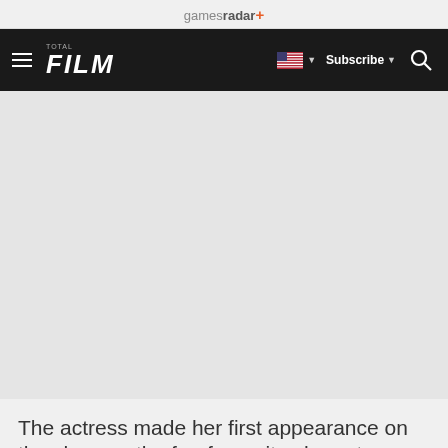gamesradar+
TOTAL FILM | Subscribe | Search
[Figure (photo): Large image area, appears to be a still or promotional photo related to The Walking Dead, predominantly light grey placeholder]
The actress made her first appearance on the show as the fan-favourite character Michonne in season 3.